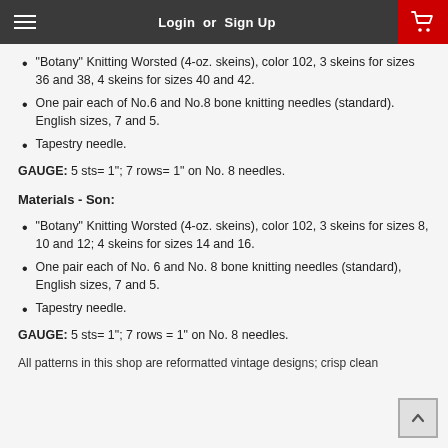Login or Sign Up
"Botany" Knitting Worsted (4-oz. skeins), color 102, 3 skeins for sizes 36 and 38, 4 skeins for sizes 40 and 42.
One pair each of No.6 and No.8 bone knitting needles (standard). English sizes, 7 and 5.
Tapestry needle.
GAUGE: 5 sts= 1"; 7 rows= 1" on No. 8 needles.
Materials - Son:
"Botany" Knitting Worsted (4-oz. skeins), color 102, 3 skeins for sizes 8, 10 and 12; 4 skeins for sizes 14 and 16.
One pair each of No. 6 and No. 8 bone knitting needles (standard), English sizes, 7 and 5.
Tapestry needle.
GAUGE: 5 sts= 1"; 7 rows = 1" on No. 8 needles.
All patterns in this shop are reformatted vintage designs; crisp clean